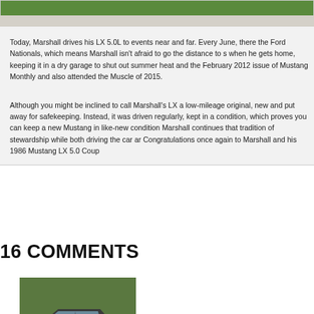[Figure (photo): Top portion of a photo showing green foliage/grass and a light gray pavement or surface below]
Today, Marshall drives his LX 5.0L to events near and far. Every June, there the Ford Nationals, which means Marshall isn't afraid to go the distance to s when he gets home, keeping it in a dry garage to shut out summer heat and the February 2012 issue of Mustang Monthly and also attended the Muscle of 2015.
Although you might be inclined to call Marshall's LX a low-mileage original, new and put away for safekeeping. Instead, it was driven regularly, kept in a condition, which proves you can keep a new Mustang in like-new condition Marshall continues that tradition of stewardship while both driving the car ar Congratulations once again to Marshall and his 1986 Mustang LX 5.0 Coup
16 COMMENTS
[Figure (photo): A dark gray/silver Fox Body Mustang coupe (likely 1986 LX 5.0) parked on a driveway with green trees in background]